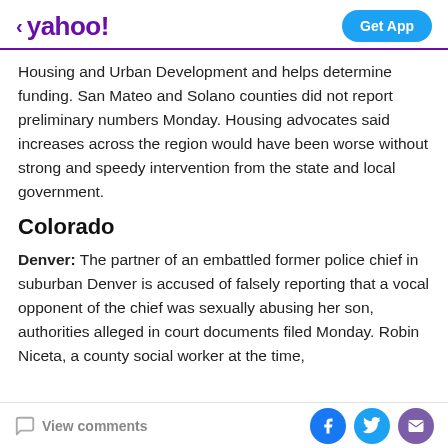< yahoo!  Get App
Housing and Urban Development and helps determine funding. San Mateo and Solano counties did not report preliminary numbers Monday. Housing advocates said increases across the region would have been worse without strong and speedy intervention from the state and local government.
Colorado
Denver: The partner of an embattled former police chief in suburban Denver is accused of falsely reporting that a vocal opponent of the chief was sexually abusing her son, authorities alleged in court documents filed Monday. Robin Niceta, a county social worker at the time,
View comments  [Facebook] [Twitter] [Email]